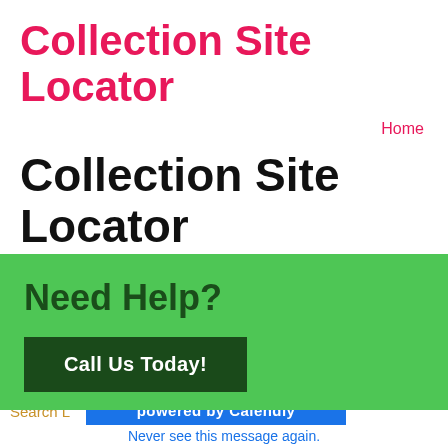Collection Site Locator
Home
Collection Site Locator
Most collection drug/alcohol testing sites remain open  ×
Need Help?
Call Us Today!
powered by Calendly
Never see this message again.